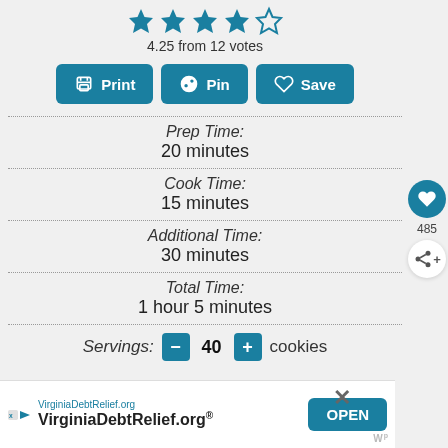[Figure (other): 4.25 out of 5 stars rating display with 4 filled stars and 1 empty star]
4.25 from 12 votes
[Figure (other): Three action buttons: Print, Pin, Save]
Prep Time: 20 minutes
Cook Time: 15 minutes
Additional Time: 30 minutes
Total Time: 1 hour 5 minutes
Servings: - 40 + cookies